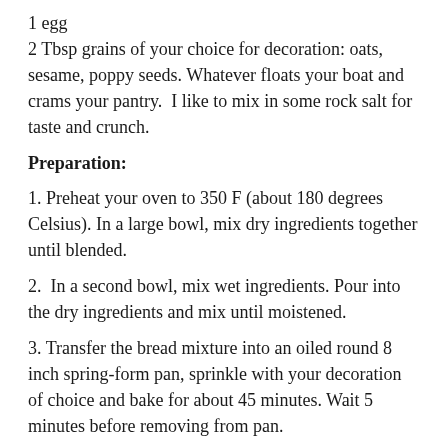1 egg
2 Tbsp grains of your choice for decoration: oats, sesame, poppy seeds. Whatever floats your boat and crams your pantry.  I like to mix in some rock salt for taste and crunch.
Preparation:
1. Preheat your oven to 350 F (about 180 degrees Celsius). In a large bowl, mix dry ingredients together until blended.
2.  In a second bowl, mix wet ingredients. Pour into the dry ingredients and mix until moistened.
3. Transfer the bread mixture into an oiled round 8 inch spring-form pan, sprinkle with your decoration of choice and bake for about 45 minutes. Wait 5 minutes before removing from pan.
4. Eat your bread warm or let it cool on a rack.